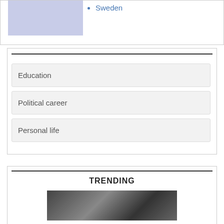[Figure (illustration): Blue-purple shaded rectangle image cell at top left]
Sweden
Education
Political career
Personal life
TRENDING
[Figure (photo): Dark photo image at the bottom of the trending section]